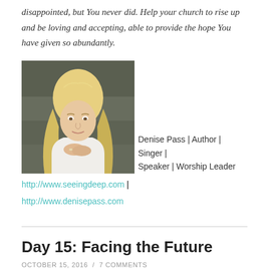disappointed, but You never did. Help your church to rise up and be loving and accepting, able to provide the hope You have given so abundantly.
[Figure (photo): Portrait photo of a blonde woman leaning on her hands, seated outdoors in front of a stone/concrete background, wearing a white top.]
Denise Pass | Author | Singer | Speaker | Worship Leader
http://www.seeingdeep.com | http://www.denisepass.com
Day 15: Facing the Future
OCTOBER 15, 2016 / 7 COMMENTS